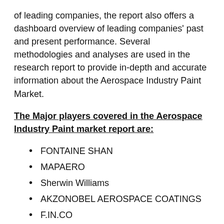of leading companies, the report also offers a dashboard overview of leading companies' past and present performance. Several methodologies and analyses are used in the research report to provide in-depth and accurate information about the Aerospace Industry Paint Market.
The Major players covered in the Aerospace Industry Paint market report are:
FONTAINE SHAN
MAPAERO
Sherwin Williams
AKZONOBEL AEROSPACE COATINGS
F.IN.CO
SOLIANI EMC
The current market dossier provides market growth potential, opportunities, drivers, industry-specific